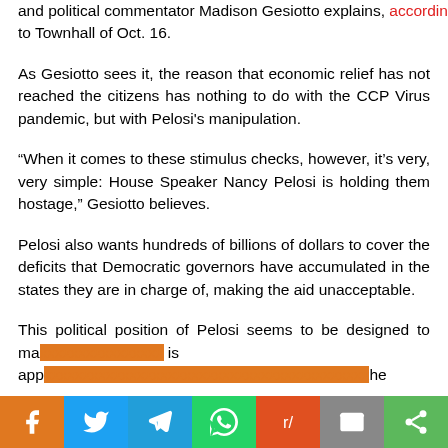and political commentator Madison Gesiotto explains, according to Townhall of Oct. 16.
As Gesiotto sees it, the reason that economic relief has not reached the citizens has nothing to do with the CCP Virus pandemic, but with Pelosi's manipulation.
“When it comes to these stimulus checks, however, it’s very, very simple: House Speaker Nancy Pelosi is holding them hostage,” Gesiotto believes.
Pelosi also wants hundreds of billions of dollars to cover the deficits that Democratic governors have accumulated in the states they are in charge of, making the aid unacceptable.
This political position of Pelosi seems to be designed to make... is app... the